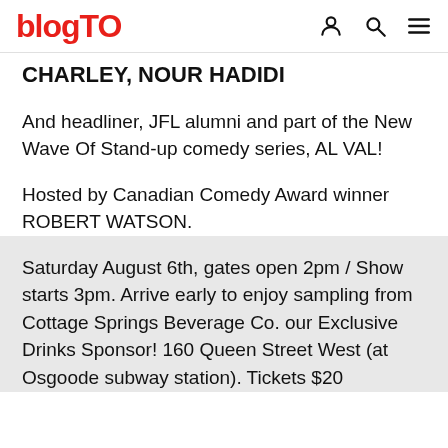blogTO
CHARLEY, NOUR HADIDI
And headliner, JFL alumni and part of the New Wave Of Stand-up comedy series, AL VAL!
Hosted by Canadian Comedy Award winner ROBERT WATSON.
Saturday August 6th, gates open 2pm / Show starts 3pm. Arrive early to enjoy sampling from Cottage Springs Beverage Co. our Exclusive Drinks Sponsor! 160 Queen Street West (at Osgoode subway station). Tickets $20